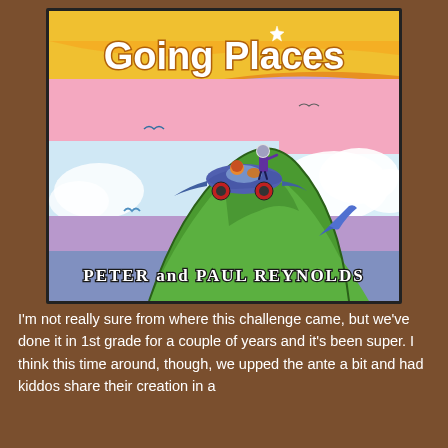[Figure (illustration): Book cover of 'Going Places' by Peter and Paul Reynolds. Shows two children in a flying car-like vehicle on top of a steep green mountain. The sky has colourful wave stripes in orange, yellow, pink and purple. Birds fly in the background. The title 'Going Places' is in white bubble letters at the top, and the authors' names 'Peter and Paul Reynolds' appear at the bottom in stylised lettering.]
I'm not really sure from where this challenge came, but we've done it in 1st grade for a couple of years and it's been super.  I think this time around, though, we upped the ante a bit and had kiddos share their creation in a